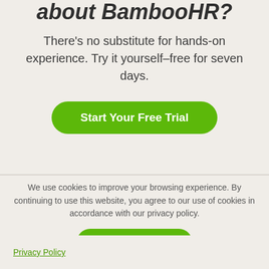about BambooHR?
There's no substitute for hands-on experience. Try it yourself–free for seven days.
Start Your Free Trial
We use cookies to improve your browsing experience. By continuing to use this website, you agree to our use of cookies in accordance with our privacy policy.
Okay, thanks!
Privacy Policy